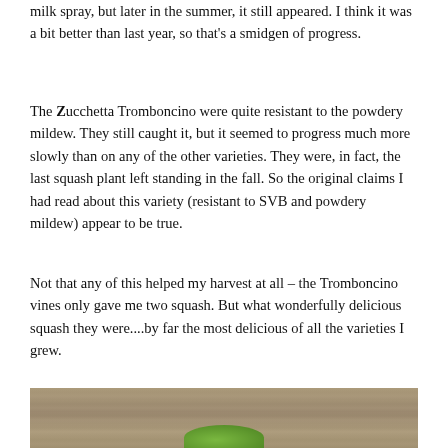milk spray, but later in the summer, it still appeared. I think it was a bit better than last year, so that's a smidgen of progress.
The Zucchetta Tromboncino were quite resistant to the powdery mildew. They still caught it, but it seemed to progress much more slowly than on any of the other varieties. They were, in fact, the last squash plant left standing in the fall. So the original claims I had read about this variety (resistant to SVB and powdery mildew) appear to be true.
Not that any of this helped my harvest at all – the Tromboncino vines only gave me two squash. But what wonderfully delicious squash they were....by far the most delicious of all the varieties I grew.
[Figure (photo): Photo of green squash on a wooden table surface, partially visible at the bottom of the page]